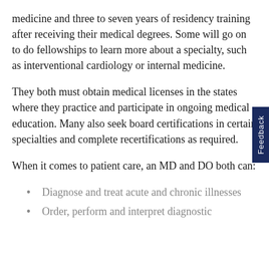medicine and three to seven years of residency training after receiving their medical degrees. Some will go on to do fellowships to learn more about a specialty, such as interventional cardiology or internal medicine.
They both must obtain medical licenses in the states where they practice and participate in ongoing medical education. Many also seek board certifications in certain specialties and complete recertifications as required.
When it comes to patient care, an MD and DO both can:
Diagnose and treat acute and chronic illnesses
Order, perform and interpret diagnostic